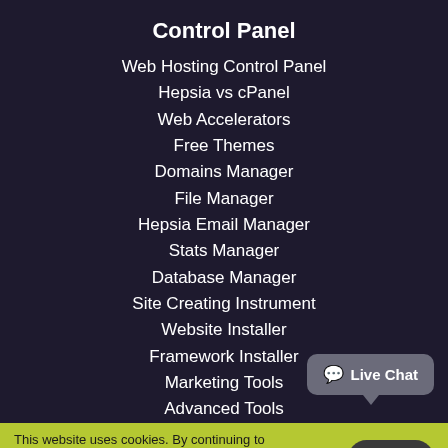Control Panel
Web Hosting Control Panel
Hepsia vs cPanel
Web Accelerators
Free Themes
Domains Manager
File Manager
Hepsia Email Manager
Stats Manager
Database Manager
Site Creating Instrument
Website Installer
Framework Installer
Marketing Tools
Advanced Tools
Live Chat
This website uses cookies. By continuing to browse our site you are agreeing to our usage of cookies. Learn more about our cookies here.
Accept